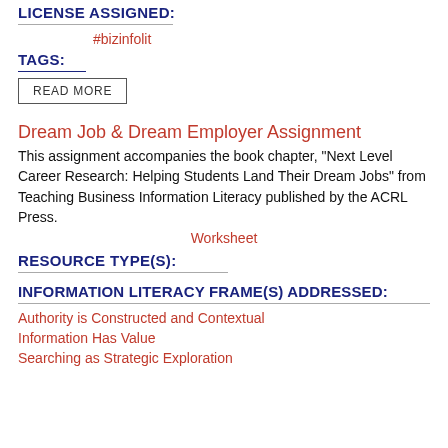LICENSE ASSIGNED:
#bizinfolit
TAGS:
READ MORE
Dream Job & Dream Employer Assignment
This assignment accompanies the book chapter, "Next Level Career Research: Helping Students Land Their Dream Jobs" from Teaching Business Information Literacy published by the ACRL Press.
Worksheet
RESOURCE TYPE(S):
INFORMATION LITERACY FRAME(S) ADDRESSED:
Authority is Constructed and Contextual
Information Has Value
Searching as Strategic Exploration